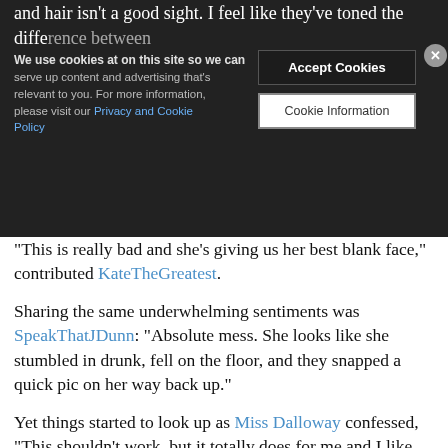and hair isn't a good sight. I feel like they've toned the difference between... they're back to their old tricks
[Figure (screenshot): Cookie consent banner overlay with dark background: 'We use cookies at on this site so we can serve up content and advertising that's relevant to you. For more information, please visit our Privacy and Cookie Policy' with Accept Cookies and Cookie Information buttons and close (X) button]
"This is really bad and she's giving us her best blank face," contributed KateTheGreatest.
Sharing the same underwhelming sentiments was SpeakThatJDunn: "Absolute mess. She looks like she stumbled in drunk, fell on the floor, and they snapped a quick pic on her way back up."
Yet things started to look up as Miss Dalloway confessed, "This shouldn't work, but it totally does for me and I like it!"
"Surprisingly I like this. Maybe it's the styling plus the hair which are doing her favors. She doesn't look as bad as she usually does on print, we've honestly seen worse from her," reasoned a pleasantly surprised khyrk.